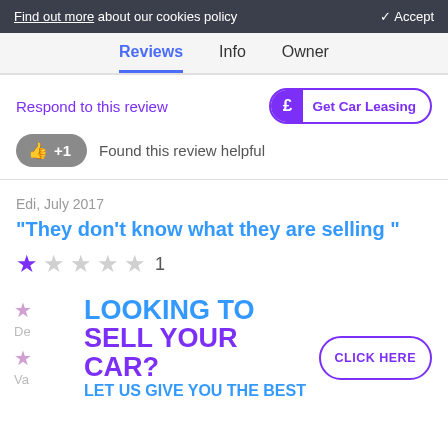Find out more about our cookies policy   ✓ Accept
Reviews  Info  Owner
Respond to this review
Get Car Leasing
👍 +1   Found this review helpful
Edi, July 2017
"They don't know what they are selling "
★☆☆☆☆ 1
[Figure (infographic): Advertisement banner: LOOKING TO SELL YOUR CAR? LET US GIVE YOU THE BEST PRICE with a CLICK HERE button]
De
Va